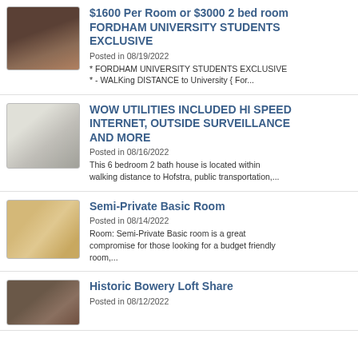$1600 Per Room or $3000 2 bed room FORDHAM UNIVERSITY STUDENTS EXCLUSIVE
Posted in 08/19/2022
* FORDHAM UNIVERSITY STUDENTS EXCLUSIVE * - WALKing DISTANCE to University { For...
WOW UTILITIES INCLUDED HI SPEED INTERNET, OUTSIDE SURVEILLANCE AND MORE
Posted in 08/16/2022
This 6 bedroom 2 bath house is located within walking distance to Hofstra, public transportation,...
Semi-Private Basic Room
Posted in 08/14/2022
Room: Semi-Private Basic room is a great compromise for those looking for a budget friendly room,...
Historic Bowery Loft Share
Posted in 08/12/2022